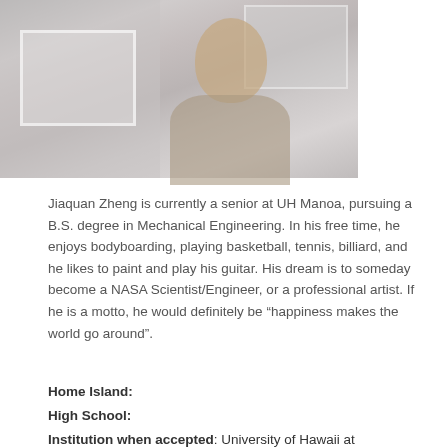[Figure (photo): Photo of Jiaquan Zheng sitting at a desk, smiling, in a room with framed items on the wall]
Jiaquan Zheng is currently a senior at UH Manoa, pursuing a B.S. degree in Mechanical Engineering. In his free time, he enjoys bodyboarding, playing basketball, tennis, billiard, and he likes to paint and play his guitar. His dream is to someday become a NASA Scientist/Engineer, or a professional artist. If he is a motto, he would definitely be “happiness makes the world go around”.
Home Island:
High School:
Institution when accepted: University of Hawaii at